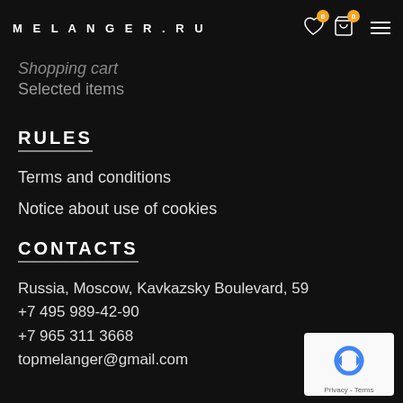MELANGER.RU
Shopping cart
Selected items
RULES
Terms and conditions
Notice about use of cookies
CONTACTS
Russia, Moscow, Kavkazsky Boulevard, 59
+7 495 989-42-90
+7 965 311 3668
topmelanger@gmail.com
[Figure (logo): reCAPTCHA badge with Privacy - Terms text]